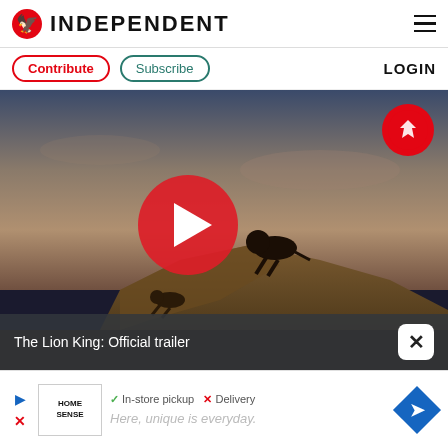INDEPENDENT
Contribute  Subscribe  LOGIN
[Figure (screenshot): Video thumbnail showing two lions/big cats on a rocky cliff at dusk with a red play button overlay, Independent eagle badge top-right, caption bar reading 'The Lion King: Official trailer' and a close X button.]
The Lion King: Official trailer
[Figure (screenshot): Advertisement banner for Home Sense with checkmark 'In-store pickup', X 'Delivery', play and X icons on left, Home Sense logo, and tagline 'Here, unique is everyday.' with blue diamond arrow icon on right.]